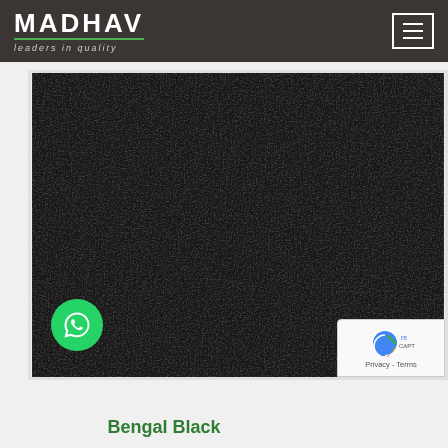MADHAV — leaders in quality
[Figure (photo): Close-up texture photo of Bengal Black granite — very dark, near-black stone surface with fine speckled crystalline texture]
Bengal Black